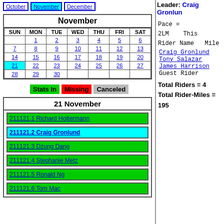October | November | December
| SUN | MON | TUE | WED | THU | FRI | SAT |
| --- | --- | --- | --- | --- | --- | --- |
|  | 1 | 2 | 3 | 4 | 5 | 6 |
| 7 | 8 | 9 | 10 | 11 | 12 | 13 |
| 14 | 15 | 16 | 17 | 18 | 19 | 20 |
| 21 | 22 | 23 | 24 | 25 | 26 | 27 |
| 28 | 29 | 30 |  |  |  |  |
Stats In   Missing   Canceled
21 November
211121.1 Richard Holtermann
211121.2 Craig Gronlund
211121.3 Dzung Dang
211121.4 Stephanie Metz
211121.5 Ronald Ng
211121.6 Tom Mac
Leader: Craig Gronlund
Pace = 2LM   This
Rider Name   Mile
Craig Gronlund
Tony Salazar
James Harrison
Guest Rider
Total Riders = 4
Total Rider-Miles = 195